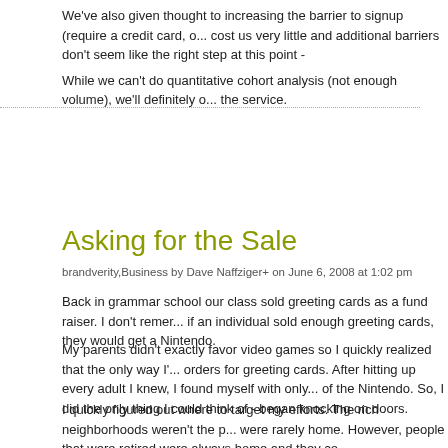We've also given thought to increasing the barrier to signup (require a credit card, o... cost us very little and additional barriers don't seem like the right step at this point -
While we can't do quantitative cohort analysis (not enough volume), we'll definitely c... the service.
Asking for the Sale
brandverity,Business by Dave Naffziger+ on June 6, 2008 at 1:02 pm
Back in grammar school our class sold greeting cards as a fund raiser. I don't remer... if an individual sold enough greeting cards, they would get a Nintendo.
My parents didn't exactly favor video games so I quickly realized that the only way I'... orders for greeting cards. After hitting up every adult I knew, I found myself with only... of the Nintendo. So, I did the only thing I could think of - began knocking on doors.
I quickly figured out where to target my efforts. The rich neighborhoods weren't the p... were rarely home. However, people that were retired were always home and they co... schooler. I also learned that if I never asked them to purchase the cards, they would... walk away with a full stomach and a head full of wisdom, but I wasn't any closer to th...
Asking for the sale comes naturally to some people. Not me. But it is a skill that can... time it becomes more natural. It is a necessity for early-stage survival and can often... technical teams that expect their products to sell themselves.
BrandVerity began asking our alpha customers for a sale this week. I've been very p...